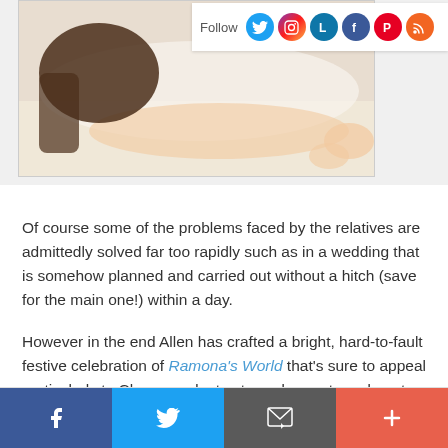[Figure (photo): Child lying on bed, hair visible, photo partially cropped. Social media follow bar overlaid on top right with Twitter, Instagram, LinkedIn, Facebook, Pinterest, RSS icons.]
Of course some of the problems faced by the relatives are admittedly solved far too rapidly such as in a wedding that is somehow planned and carried out without a hitch (save for the main one!) within a day.
However in the end Allen has crafted a bright, hard-to-fault festive celebration of Ramona's World that's sure to appeal particularly to Cleary graduates turned parents and aunts who can't wait to introduce the characters to their children... hopefully in print as well as onscreen in a double feature of the movie as well as a trip to the Beverly Cleary shelf of your local bookstore or library.
Blu-ray Features: Fox continues to rival Disney with the
[Figure (infographic): Bottom share bar with Facebook (blue), Twitter (light blue), Email/envelope (gray), and More/plus (red-orange) buttons.]